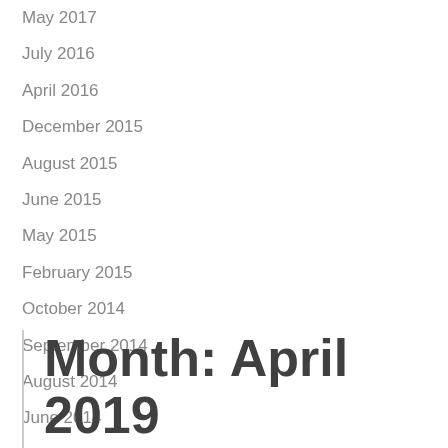May 2017
July 2016
April 2016
December 2015
August 2015
June 2015
May 2015
February 2015
October 2014
September 2014
August 2014
June 2014
Month: April 2019